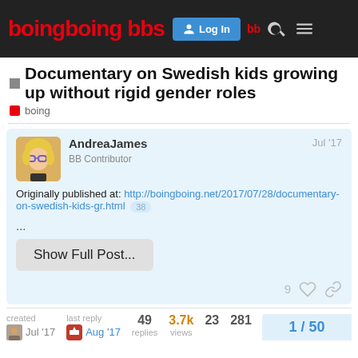boing boing bbs — Log In
Documentary on Swedish kids growing up without rigid gender roles
boing
AndreaJames — BB Contributor — Jul '17
Originally published at: http://boingboing.net/2017/07/28/documentary-on-swedish-kids-gr.html 38
...
Show Full Post...
9
created Jul '17 — last reply Aug '17 — 49 replies — 3.7k views — 23 — 281 — 1 / 50